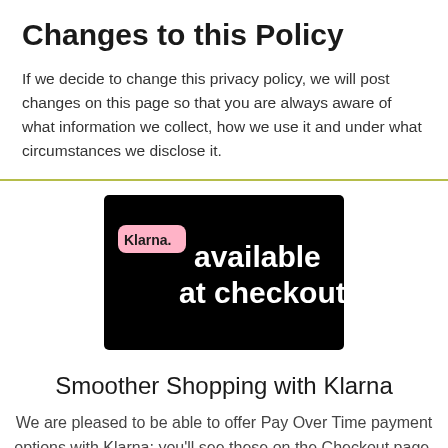Changes to this Policy
If we decide to change this privacy policy, we will post changes on this page so that you are always aware of what information we collect, how we use it and under what circumstances we disclose it.
[Figure (illustration): Klarna advertisement banner on black background with pink Klarna badge and text 'available at checkout.']
Smoother Shopping with Klarna
We are pleased to be able to offer Pay Over Time payment options with Klarna; you'll see these on the Checkout page. This page gives more detail on